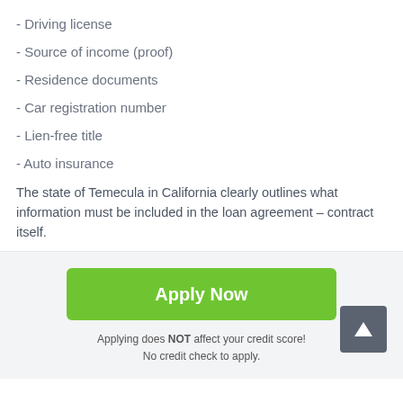- Driving license
- Source of income (proof)
- Residence documents
- Car registration number
- Lien-free title
- Auto insurance
The state of Temecula in California clearly outlines what information must be included in the loan agreement – contract itself.
[Figure (other): Green 'Apply Now' button]
Applying does NOT affect your credit score!
No credit check to apply.